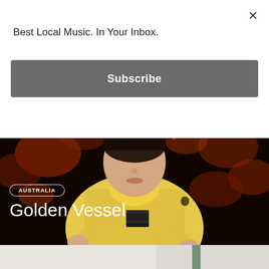×
Best Local Music. In Your Inbox.
Subscribe
[Figure (photo): Young man wearing a yellow polo jacket and yellow turtleneck sweater, arms crossed, photographed against a dark background with warm orange bokeh lights. A small label on his jacket is visible.]
AUSTRALIA
Golden Vessel
[Figure (photo): Partial view of a second image at the bottom, showing a light gray/white background with a green pole or bar visible.]